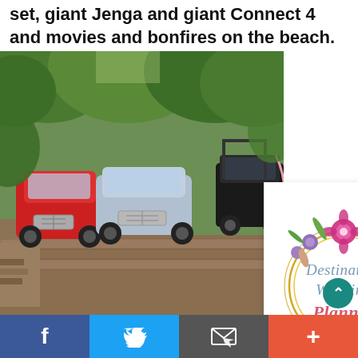set, giant Jenga and giant Connect 4 and movies and bonfires on the beach.
[Figure (photo): Two vintage Mini cars (red and light blue) parked in front of lush green tropical trees on a brick surface with wooden structures]
[Figure (illustration): Destination Wedding Planner advertisement with floral wreath design in gold circle with pink and purple flowers]
[Figure (photo): Bottom portion showing tropical trees and greenery]
Facebook share | Twitter share | Email share | Plus share